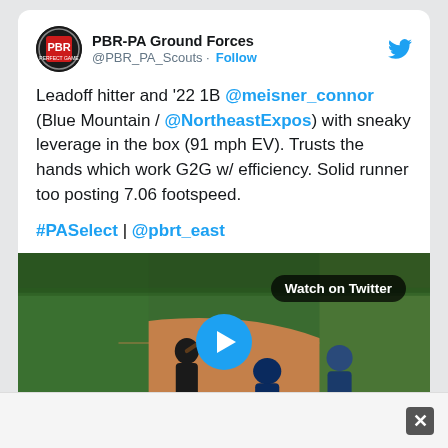[Figure (screenshot): Twitter/X post from PBR-PA Ground Forces (@PBR_PA_Scouts) about baseball player Connor Meisner, with a video thumbnail of a baseball game at home plate showing a batter, catcher, and umpire with a play button overlay and 'Watch on Twitter' badge.]
PBR-PA Ground Forces @PBR_PA_Scouts · Follow
Leadoff hitter and '22 1B @meisner_connor (Blue Mountain / @NortheastExpos) with sneaky leverage in the box (91 mph EV). Trusts the hands which work G2G w/ efficiency. Solid runner too posting 7.06 footspeed.
#PASelect | @pbrt_east